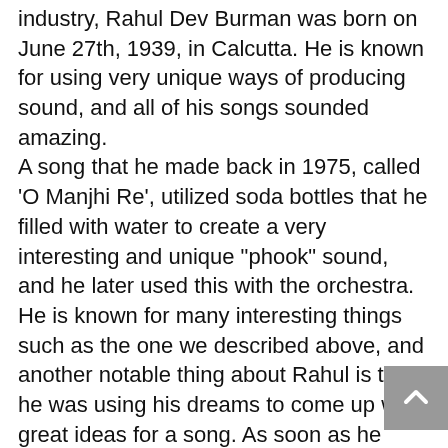industry, Rahul Dev Burman was born on June 27th, 1939, in Calcutta. He is known for using very unique ways of producing sound, and all of his songs sounded amazing. A song that he made back in 1975, called 'O Manjhi Re', utilized soda bottles that he filled with water to create a very interesting and unique "phook" sound, and he later used this with the orchestra. He is known for many interesting things such as the one we described above, and another notable thing about Rahul is that he was using his dreams to come up with great ideas for a song. As soon as he woke up, he wrote down the song that he dreamed about, and they say that this was his key to success. Pretty amazing stuff. Rahul Dev Burman manage to create many wonderful things, but unfortunately, he passed away back on January 4th, 1994 in Bombay. Indian people will remember him for the amazing music that he left